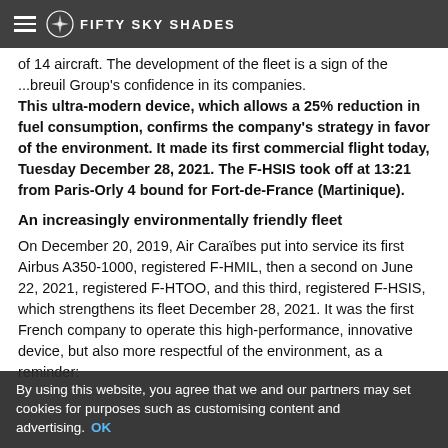FIFTY SKY SHADES (navigation bar with logo and hamburger menu)
of 14 aircraft. The development of the fleet is a sign of the ...breuil Group's confidence in its companies. This ultra-modern device, which allows a 25% reduction in fuel consumption, confirms the company's strategy in favor of the environment. It made its first commercial flight today, Tuesday December 28, 2021. The F-HSIS took off at 13:21 from Paris-Orly 4 bound for Fort-de-France (Martinique).
An increasingly environmentally friendly fleet
On December 20, 2019, Air Caraïbes put into service its first Airbus A350-1000, registered F-HMIL, then a second on June 22, 2021, registered F-HTOO, and this third, registered F-HSIS, which strengthens its fleet December 28, 2021. It was the first French company to operate this high-performance, innovative device, but also more respectful of the environment, as a reminder:
The A350-1000 is a significantly lighter aircraft. It is made over 70% of advanced materials that are stronger and more rigid, combining titanium, aluminum alloys and carbon
cookies for purposes such as customising content and ... XWB engines allow a 25% reduction in fuel consumption and carbon dioxide (CO2) emissions compared to competing
By using this website, you agree that we and our partners may set cookies for purposes such as customising content and advertising. OK